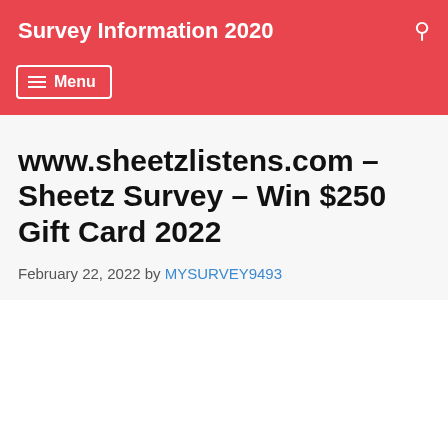Survey Information 2020
www.sheetzlistens.com – Sheetz Survey – Win $250 Gift Card 2022
February 22, 2022 by MYSURVEY9493